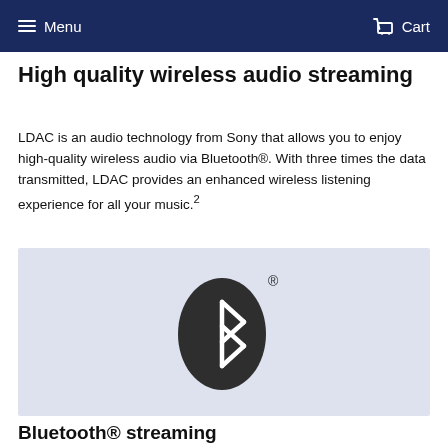Menu  Cart
High quality wireless audio streaming
LDAC is an audio technology from Sony that allows you to enjoy high-quality wireless audio via Bluetooth®. With three times the data transmitted, LDAC provides an enhanced wireless listening experience for all your music.²
[Figure (logo): Bluetooth logo: a dark rounded oval containing the Bluetooth symbol (a stylized B with lines through it), with a registered trademark symbol ® to the upper right, on a light blue-grey background.]
Bluetooth® streaming